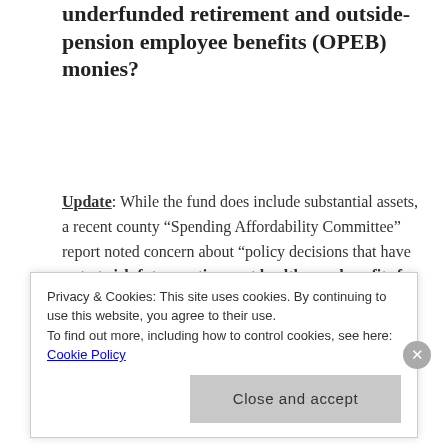underfunded retirement and outside-pension employee benefits (OPEB) monies?
Update: While the fund does include substantial assets, a recent county "Spending Affordability Committee" report noted concern about "policy decisions that have put at risk future retirement health care benefits for the County's current employees and retirees, as well as saddled the
Privacy & Cookies: This site uses cookies. By continuing to use this website, you agree to their use. To find out more, including how to control cookies, see here: Cookie Policy
Close and accept